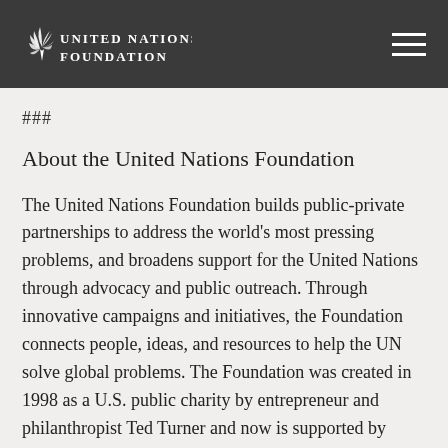UNITED NATIONS FOUNDATION
###
About the United Nations Foundation
The United Nations Foundation builds public-private partnerships to address the world's most pressing problems, and broadens support for the United Nations through advocacy and public outreach. Through innovative campaigns and initiatives, the Foundation connects people, ideas, and resources to help the UN solve global problems. The Foundation was created in 1998 as a U.S. public charity by entrepreneur and philanthropist Ted Turner and now is supported by philanthropic, corporate, government, and